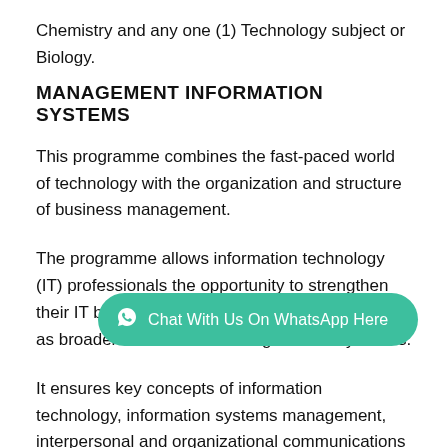Chemistry and any one (1) Technology subject or Biology.
MANAGEMENT INFORMATION SYSTEMS
This programme combines the fast-paced world of technology with the organization and structure of business management.
The programme allows information technology (IT) professionals the opportunity to strengthen their IT business and management skills as well as broaden their understanding of industry trends.
It ensures key concepts of information technology, information systems management, interpersonal and organizational communications and project management.
Duration: 4 years, Degree: B.Sc. Requirements: Candidates
[Figure (other): WhatsApp chat button with text: Chat With Us On WhatsApp Here]